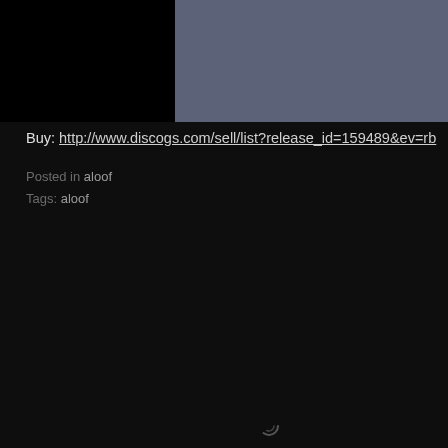[Figure (photo): Dark header band with album thumbnail (black square) on the left and dark blue-gray background on the right]
Buy: http://www.discogs.com/sell/list?release_id=159489&ev=rb
Posted in aloof
Tags: aloof
[Figure (other): Small loading spinner icon in the center of the dark page]